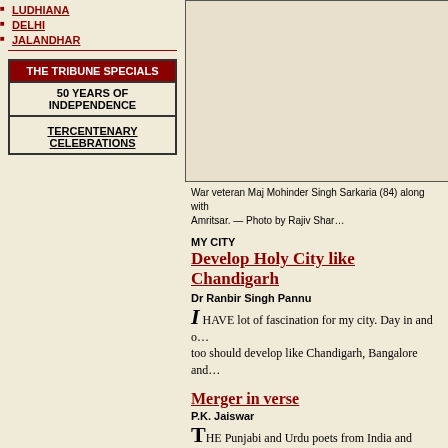LUDHIANA
DELHI
JALANDHAR
| THE TRIBUNE SPECIALS |
| 50 YEARS OF INDEPENDENCE |
| TERCENTENARY CELEBRATIONS |
[Figure (photo): Photo box showing war veteran Maj Mohinder Singh Sarkaria]
War veteran Maj Mohinder Singh Sarkaria (84) along with Amritsar. — Photo by Rajiv Shar…
MY CITY
Develop Holy City like Chandigarh
Dr Ranbir Singh Pannu
I HAVE lot of fascination for my city. Day in and … too should develop like Chandigarh, Bangalore and…
Merger in verse
P.K. Jaiswar
THE Punjabi and Urdu poets from India and Pakis… Indo-Pak borders" at the Mushaira held at DAV Pu…
Rajouri girls relish Punjabi delicacies
EIGHTEEN girls from Rajouri district of Jammu a… of oneness, peace and love for mankind.